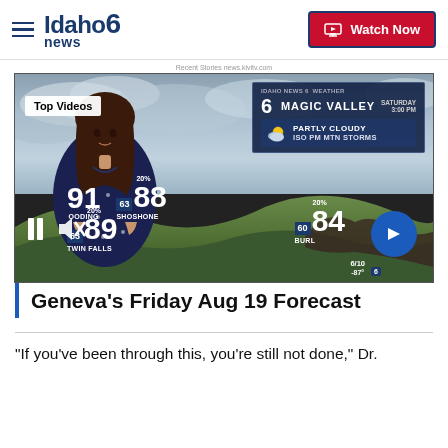Idaho News 6 — Watch Now
Recent Stories news.kivitv.com
[Figure (screenshot): Weather forecast video thumbnail showing Idaho News 6 weather segment. A female meteorologist stands in front of a 3D terrain map showing Magic Valley. Weather overlay shows: MAGIC VALLEY, SATURDAY 3:00 PM, PARTLY CLOUDY, ISO PM MTN STORMS. Temperature readings: GOODING 91, SHOSHONE 20%/63/88, TWIN FALLS 20%/63/89, BURLEY 20%/60/84. Top Videos label visible. Pause and mute icons at bottom left. Blue arrow circle button at bottom right. Small temperature 6/10 -87° at bottom right.]
Geneva's Friday Aug 19 Forecast
"If you've been through this, you're still not done," Dr.